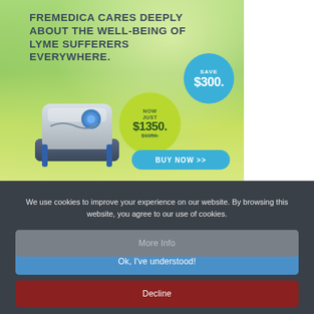[Figure (advertisement): Fremedica medical device advertisement with green outdoor background, a wrist-worn device, pricing circles showing NOW JUST $1350. (was $1650.) and SAVE $300., and a BUY NOW >> button]
FREMEDICA CARES DEEPLY ABOUT THE WELL-BEING OF LYME SUFFERERS EVERYWHERE.
We use cookies to improve your experience on our website. By browsing this website, you agree to our use of cookies.
Ok, I've understood!
Decline
More Info